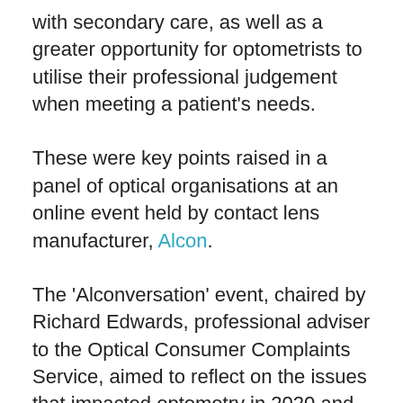with secondary care, as well as a greater opportunity for optometrists to utilise their professional judgement when meeting a patient's needs.
These were key points raised in a panel of optical organisations at an online event held by contact lens manufacturer, Alcon.
The 'Alconversation' event, chaired by Richard Edwards, professional adviser to the Optical Consumer Complaints Service, aimed to reflect on the issues that impacted optometry in 2020 and what it has taught the profession moving forwards.